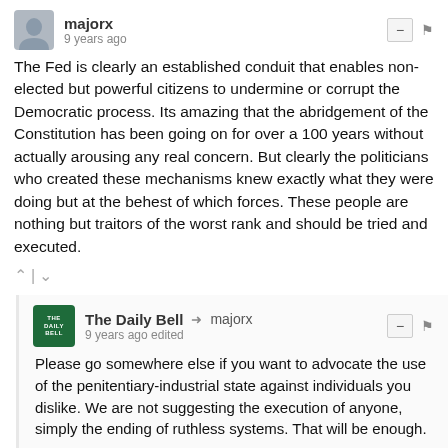majorx
9 years ago
The Fed is clearly an established conduit that enables non-elected but powerful citizens to undermine or corrupt the Democratic process. Its amazing that the abridgement of the Constitution has been going on for over a 100 years without actually arousing any real concern. But clearly the politicians who created these mechanisms knew exactly what they were doing but at the behest of which forces. These people are nothing but traitors of the worst rank and should be tried and executed.
The Daily Bell → majorx
9 years ago edited
Please go somewhere else if you want to advocate the use of the penitentiary-industrial state against individuals you dislike. We are not suggesting the execution of anyone, simply the ending of ruthless systems. That will be enough.